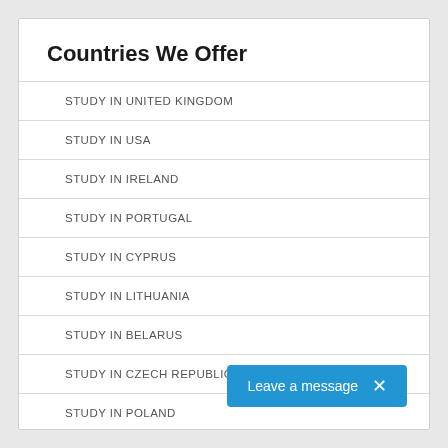Countries We Offer
STUDY IN UNITED KINGDOM
STUDY IN USA
STUDY IN IRELAND
STUDY IN PORTUGAL
STUDY IN CYPRUS
STUDY IN LITHUANIA
STUDY IN BELARUS
STUDY IN CZECH REPUBLIC
STUDY IN POLAND
Leave a message ×